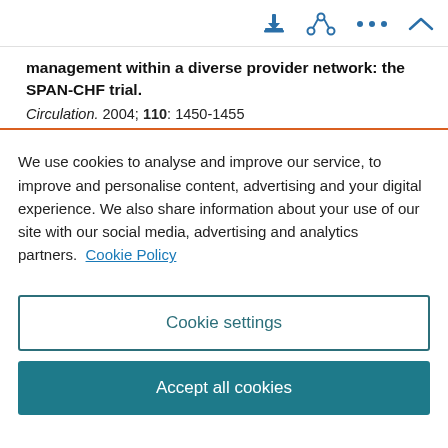[toolbar icons: download, share, more, collapse]
management within a diverse provider network: the SPAN-CHF trial. Circulation. 2004; 110: 1450-1455
We use cookies to analyse and improve our service, to improve and personalise content, advertising and your digital experience. We also share information about your use of our site with our social media, advertising and analytics partners. Cookie Policy
Cookie settings
Accept all cookies